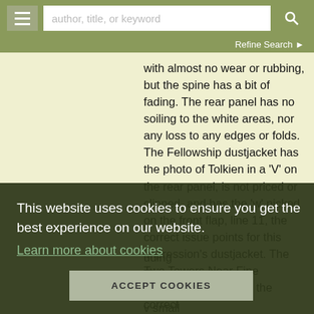author, title, or keyword | Refine Search
with almost no wear or rubbing, but the spine has a bit of fading. The rear panel has no soiling to the white areas, nor any loss to any edges or folds. The Fellowship dustjacket has the photo of Tolkien in a 'V' on the rear panel, is not priced or clipped, and has the 'w' nicked on the front flap, line 11, the correct issue points for this impression's dustjacket. The Two Towers Near Fine dustjacket exhibits all the correct ... uding ... There ... spine ... v small ... tiny bit ... eable. ... s price clipped, so unfortunately does not show the surprised IFI in the price with double
This website uses cookies to ensure you get the best experience on our website.
Learn more about cookies
ACCEPT COOKIES